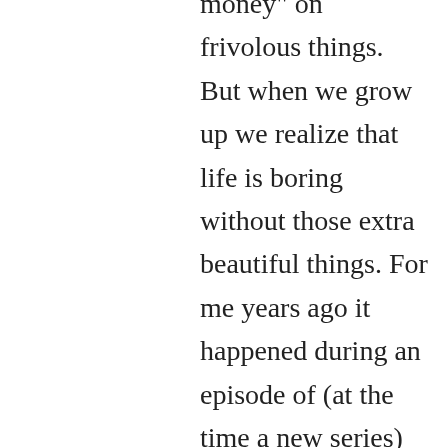money" on frivolous things. But when we grow up we realize that life is boring without those extra beautiful things. For me years ago it happened during an episode of (at the time a new series) called "Real Housewives"- showing how these women live. I realized my mindset was completely different. The abundant feeling they have in the clothing they